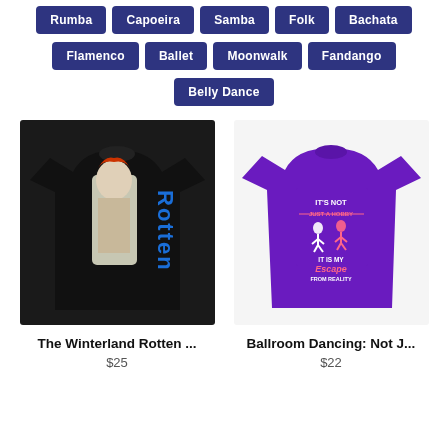Rumba
Capoeira
Samba
Folk
Bachata
Flamenco
Ballet
Moonwalk
Fandango
Belly Dance
[Figure (photo): Black t-shirt with Johnny Rotten graphic and vertical 'Rotten' text in blue]
The Winterland Rotten ...
$25
[Figure (photo): Purple women's t-shirt with ballroom dancing graphic and text 'It's not just a hobby it is my escape from reality']
Ballroom Dancing: Not J...
$22